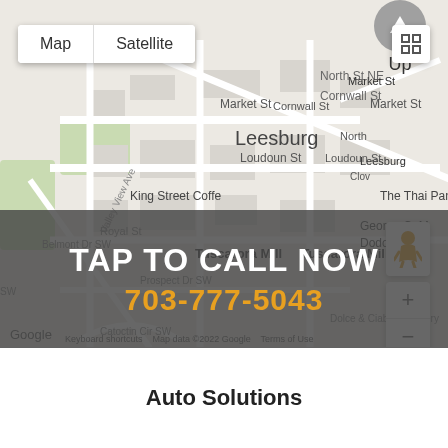[Figure (map): Google Maps view of Leesburg, Virginia showing streets including Market St, Loudoun St, Royal St, Belmont Dr SW, Valley View Ave SW; landmarks including Tuscarora Mill, King Street Coffee, The Thai Pan, George C. Dodona Ma, McDonald's, Pennington Lot parking, Dolce & Ciabatta Bakery; a blue location pin marker in the center.]
TAP TO CALL NOW
703-777-5043
Auto Solutions